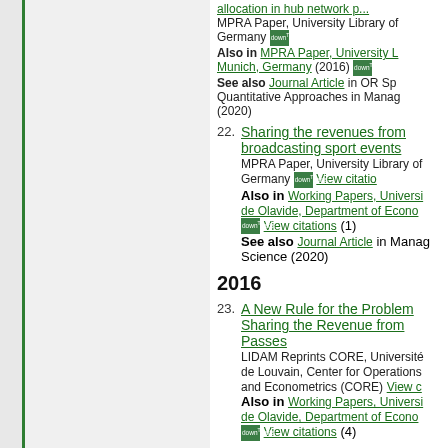allocation in hub network p... MPRA Paper, University Library of Germany downloads Also in MPRA Paper, University Library Munich, Germany (2016) downloads See also Journal Article in OR Sp Quantitative Approaches in Manag (2020)
22. Sharing the revenues from broadcasting sport events. MPRA Paper, University Library of Germany downloads View citations. Also in Working Papers, Universid de Olavide, Department of Econom downloads View citations (1). See also Journal Article in Manag Science (2020)
2016
23. A New Rule for the Problem of Sharing the Revenue from Passes. LIDAM Reprints CORE, Université de Louvain, Center for Operations and Econometrics (CORE) View c. Also in Working Papers, Universid de Olavide, Department of Econom downloads View citations (4)
24. Consistency in PERT prob...